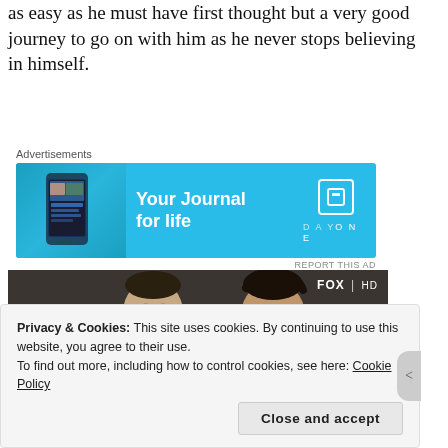as easy as he must have first thought but a very good journey to go on with him as he never stops believing in himself.
[Figure (other): Advertisement banner for Day One journal app with cyan/blue background showing a phone mockup on the left and text 'Your Journal for life' with DAYONE logo on the right]
[Figure (photo): Two men sitting together in a dark scene, FOX HD watermark in top right corner]
Privacy & Cookies: This site uses cookies. By continuing to use this website, you agree to their use.
To find out more, including how to control cookies, see here: Cookie Policy
Close and accept